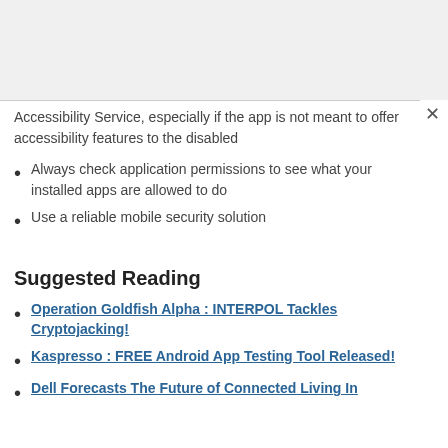Accessibility Service, especially if the app is not meant to offer accessibility features to the disabled
Always check application permissions to see what your installed apps are allowed to do
Use a reliable mobile security solution
Suggested Reading
Operation Goldfish Alpha : INTERPOL Tackles Cryptojacking!
Kaspresso : FREE Android App Testing Tool Released!
Dell Forecasts The Future of Connected Living In